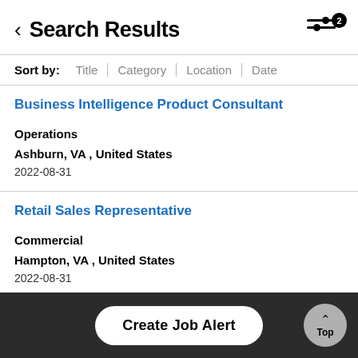Search Results
Sort by: Title | Category | Location | Date
Business Intelligence Product Consultant
Operations
Ashburn, VA , United States
2022-08-31
Retail Sales Representative
Commercial
Hampton, VA , United States
2022-08-31
Systems Architect
Create Job Alert